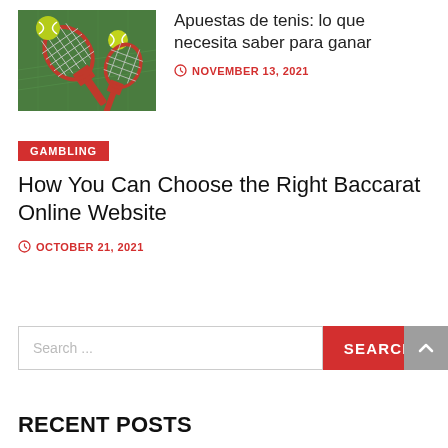[Figure (photo): Tennis rackets and yellow tennis balls on a green court surface]
Apuestas de tenis: lo que necesita saber para ganar
NOVEMBER 13, 2021
GAMBLING
How You Can Choose the Right Baccarat Online Website
OCTOBER 21, 2021
Search ...
SEARCH
RECENT POSTS